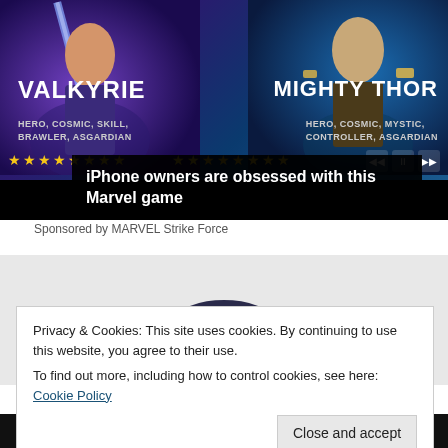[Figure (screenshot): Marvel Strike Force game advertisement showing two characters: Valkyrie (Hero, Cosmic, Skill, Brawler, Asgardian) and Mighty Thor (Hero, Cosmic, Mystic, Controller, Asgardian) with star ratings and media controls]
iPhone owners are obsessed with this Marvel game
Sponsored by MARVEL Strike Force
[Figure (photo): Dark blue cowboy hat product photo]
Privacy & Cookies: This site uses cookies. By continuing to use this website, you agree to their use.
To find out more, including how to control cookies, see here: Cookie Policy
Close and accept
Almost Nobody Has Passed This Classic